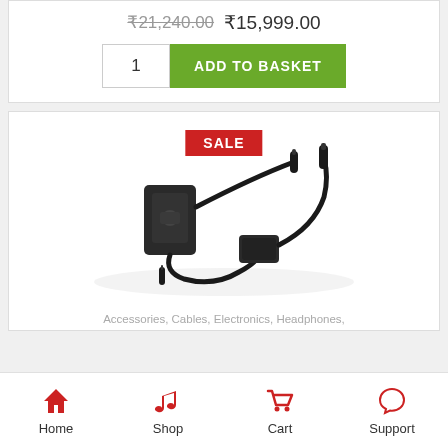₹21,240.00  ₹15,999.00
1   ADD TO BASKET
[Figure (photo): Electronic audio adapter/microphone product with cables, shown against white background, with red SALE badge overlay]
Accessories, Cables, Electronics, Headphones,
Home   Shop   Cart   Support